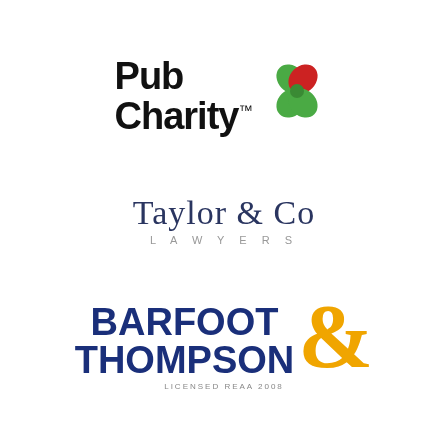[Figure (logo): Pub Charity logo with four-leaf clover icon (green with red heart leaf) and bold black text 'Pub Charity' with trademark symbol]
[Figure (logo): Taylor & Co Lawyers logo with navy serif text 'Taylor & Co' and grey spaced caps 'LAWYERS' underneath]
[Figure (logo): Barfoot & Thompson logo with bold navy blue text 'BARFOOT' and 'THOMPSON' with a large gold ampersand, and 'LICENSED REAA 2008' in small text below]